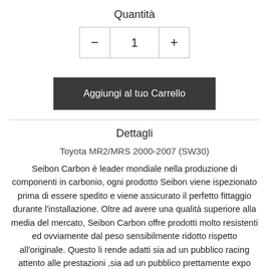Quantità
[Figure (other): Quantity selector UI with minus button, quantity display showing 1, and plus button]
[Figure (other): Add to cart button: Aggiungi al tuo Carrello]
Dettagli
Toyota MR2/MRS 2000-2007 (SW30)
Seibon Carbon è leader mondiale nella produzione di componenti in carbonio, ogni prodotto Seibon viene ispezionato prima di essere spedito e viene assicurato il perfetto fittaggio durante l'installazione. Oltre ad avere una qualità superiore alla media del mercato, Seibon Carbon offre prodotti molto resistenti ed ovviamente dal peso sensibilmente ridotto rispetto all'originale. Questo li rende adatti sia ad un pubblico racing attento alle prestazioni ,sia ad un pubblico prettamente expo che vuole il massimo risultato estetico. La maggior parte dei prodotti Seibon utilizzano gli agganci originali della vettura quindi non richiedono modifiche. per maggiori informazioni sul singolo